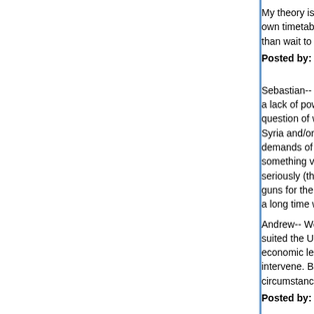My theory is that Israel might have decided to pre-empt on their own timetable - i.e., while conditions exist favoring them, rather than wait to see what new screwup the Bush Adm...
Posted by: CaseyL | July 15, 2006 at 08:05 PM
Sebastian-- Yes. I was trying to suggest that curre... a lack of power (and will) to try to ameliorate the s... question of whether there really is a desire in the ... Syria and/or Iran and/or to bring about the Raptu... demands of one kind or another from the neighbo... something valuable would be necessary for Israel... seriously (that is, to change the cost-benefit for th... guns for the moment). I take your point that there... a long time wrt Syria at least.
Andrew-- Well, there's cutting off and cutting dow... suited the US administration to have a stable mid... economic leverage the US has wrt Israel ought to... intervene. But since, to paraphrase Bertie Woost... circumstances aren't, it's different from what they...
Posted by: JakeB | July 15, 2006 at 08:15 PM